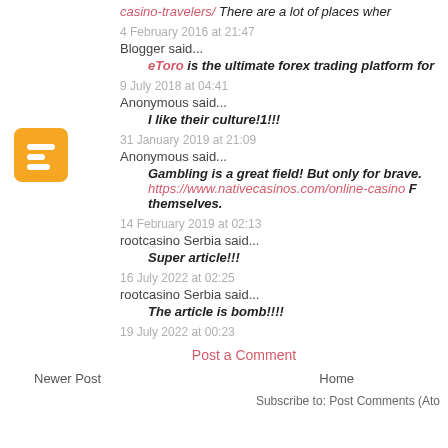casino-travelers/ There are a lot of places wher
4 February 2016 at 21:47
Blogger said...
eToro is the ultimate forex trading platform for
9 July 2018 at 04:41
Anonymous said...
I like their culture!1!!!
31 January 2019 at 21:09
Anonymous said...
Gambling is a great field! But only for brave.
https://www.nativecasinos.com/online-casino F themselves.
14 February 2019 at 02:13
rootcasino Serbia said...
Super article!!!
16 July 2022 at 02:25
rootcasino Serbia said...
The article is bomb!!!!
19 July 2022 at 00:23
Post a Comment
Newer Post
Home
Subscribe to: Post Comments (Ato